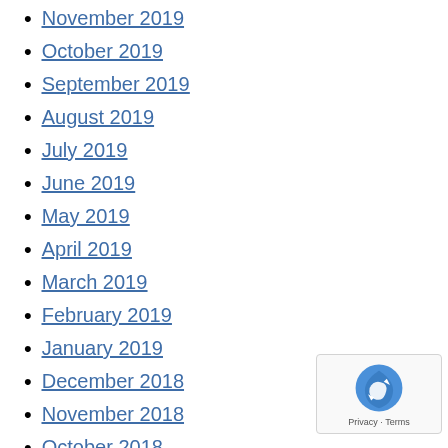November 2019
October 2019
September 2019
August 2019
July 2019
June 2019
May 2019
April 2019
March 2019
February 2019
January 2019
December 2018
November 2018
October 2018